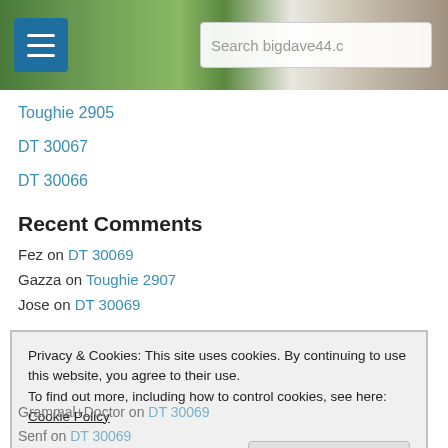[Figure (screenshot): Website header bar with a hamburger menu icon on the left, a landscape photo background, and a search box showing 'Search bigdave44.c']
Toughie 2905
DT 30067
DT 30066
Recent Comments
Fez on DT 30069
Gazza on Toughie 2907
Jose on DT 30069
Privacy & Cookies: This site uses cookies. By continuing to use this website, you agree to their use.
To find out more, including how to control cookies, see here: Cookie Policy
Close and accept
Grammal+Doctor on DT 30069
Senf on DT 30069